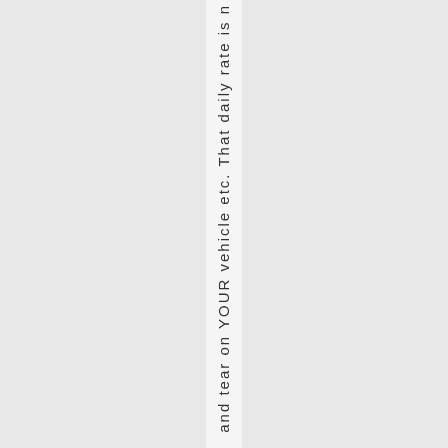and tear on YOUR vehicle etc. That daily rate is n